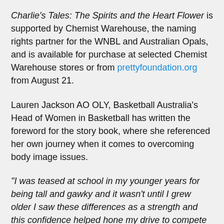Charlie's Tales: The Spirits and the Heart Flower is supported by Chemist Warehouse, the naming rights partner for the WNBL and Australian Opals, and is available for purchase at selected Chemist Warehouse stores or from prettyfoundation.org from August 21.
Lauren Jackson AO OLY, Basketball Australia's Head of Women in Basketball has written the foreword for the story book, where she referenced her own journey when it comes to overcoming body image issues.
“I was teased at school in my younger years for being tall and gawky and it wasn’t until I grew older I saw these differences as a strength and this confidence helped hone my drive to compete in the WNBL, the WNBA and the Olympics,” said Jackson in this book.
“I hope to lay good body image foundations with my own